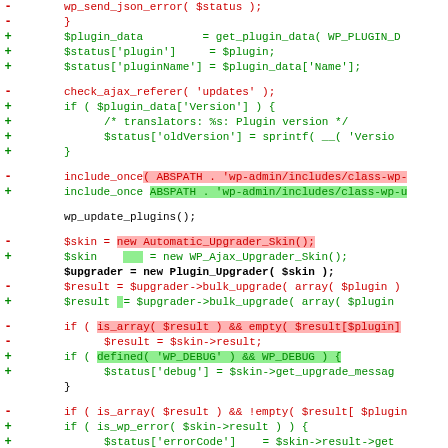[Figure (screenshot): Code diff view showing PHP code changes in a WordPress plugin file with red (removed) and green (added) highlighted lines. Removed lines shown in red text with '-' marker, added lines in green text with '+' marker. Some lines have inline red or green background highlights indicating specific changed tokens.]